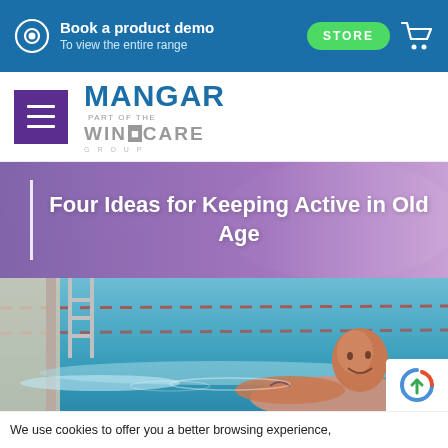Book a product demo — To view the entire range | STORE
[Figure (logo): Mangar logo — MANGAR, Part of the Wincare Group]
Four Ideas for Keeping Active in Old Age
[Figure (photo): Elderly man smiling in a swimming pool, gripping pool ladder]
We use cookies to offer you a better browsing experience,